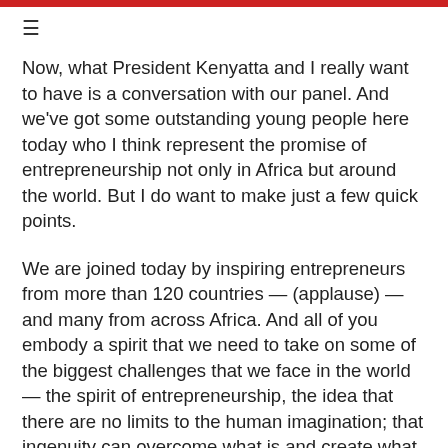≡
Now, what President Kenyatta and I really want to have is a conversation with our panel. And we've got some outstanding young people here today who I think represent the promise of entrepreneurship not only in Africa but around the world. But I do want to make just a few quick points.
We are joined today by inspiring entrepreneurs from more than 120 countries — (applause) — and many from across Africa. And all of you embody a spirit that we need to take on some of the biggest challenges that we face in the world — the spirit of entrepreneurship, the idea that there are no limits to the human imagination; that ingenuity can overcome what is and create what needs to be.
And everywhere I go, across the United States and around